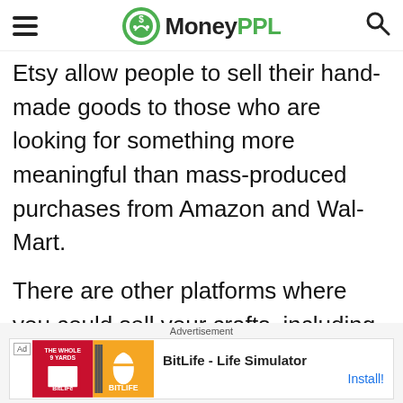MoneyPPL
Etsy allow people to sell their hand-made goods to those who are looking for something more meaningful than mass-produced purchases from Amazon and Wal-Mart.
There are other platforms where you could sell your crafts, including eBay. If you have a real niche skill, that could be worth
[Figure (screenshot): Advertisement banner for BitLife - Life Simulator app]